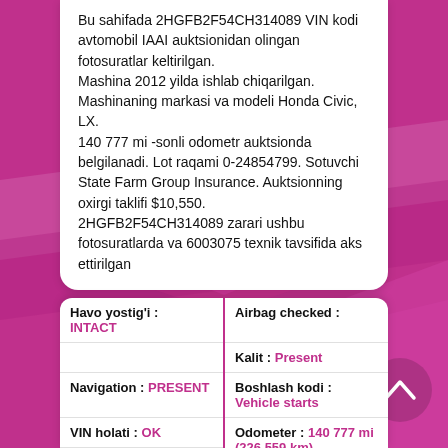Bu sahifada 2HGFB2F54CH314089 VIN kodi avtomobil IAAI auktsionidan olingan fotosuratlar keltirilgan. Mashina 2012 yilda ishlab chiqarilgan. Mashinaning markasi va modeli Honda Civic, LX. 140 777 mi -sonli odometr auktsionda belgilanadi. Lot raqami 0-24854799. Sotuvchi State Farm Group Insurance. Auktsionning oxirgi taklifi $10,550. 2HGFB2F54CH314089 zarari ushbu fotosuratlarda va 6003075 texnik tavsifida aks ettirilgan
| Left | Right |
| --- | --- |
| Havo yostig'i : INTACT | Airbag checked : |
|  | Kalit : Present |
| Navigation : PRESENT | Boshlash kodi : Vehicle starts |
| VIN holati : OK |  |
| Rang : GRAY | Odometer : 140 777 mi (226 559 km) |
| ACV : 8986 |  |